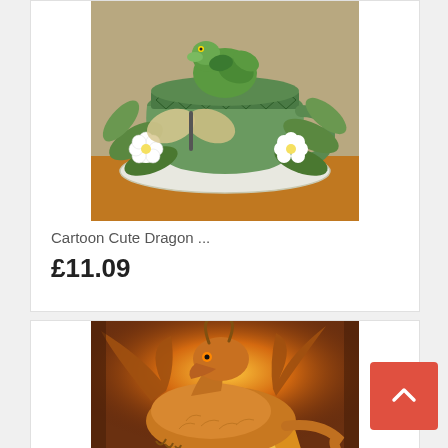[Figure (illustration): A fantasy illustration of a cute green dragon sitting in a decorative green teacup on a saucer, surrounded by leaves, flowers, and a butterfly. Warm brown background.]
Cartoon Cute Dragon ...
£11.09
[Figure (illustration): A fantasy illustration of a large golden-orange fire dragon with spread wings in a warm glowing environment.]